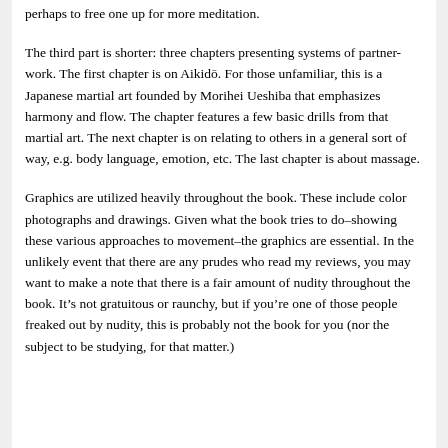perhaps to free one up for more meditation.
The third part is shorter: three chapters presenting systems of partner-work. The first chapter is on Aikidō. For those unfamiliar, this is a Japanese martial art founded by Morihei Ueshiba that emphasizes harmony and flow. The chapter features a few basic drills from that martial art. The next chapter is on relating to others in a general sort of way, e.g. body language, emotion, etc. The last chapter is about massage.
Graphics are utilized heavily throughout the book. These include color photographs and drawings. Given what the book tries to do–showing these various approaches to movement–the graphics are essential. In the unlikely event that there are any prudes who read my reviews, you may want to make a note that there is a fair amount of nudity throughout the book. It's not gratuitous or raunchy, but if you're one of those people freaked out by nudity, this is probably not the book for you (nor the subject to be studying, for that matter.)